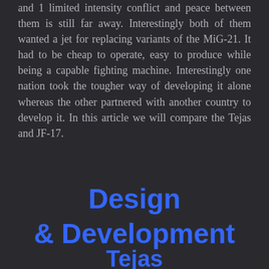and 1 limited intensity conflict and peace between them is still far away. Interestingly both of them wanted a jet for replacing variants of the MiG-21. It had to be cheap to operate, easy to produce while being a capable fighting machine. Interestingly one nation took the tougher way of developing it alone whereas the other partnered with another country to develop it. In this article we will compare the Tejas and JF-17.
Design & Development
Tejas